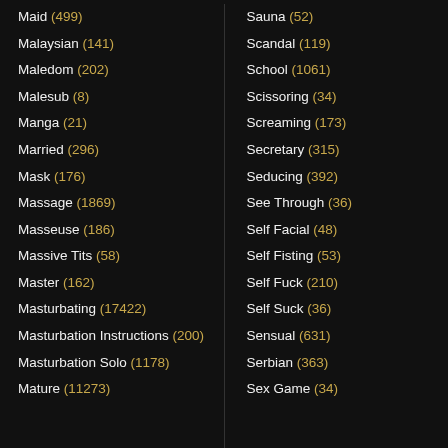Maid (499)
Malaysian (141)
Maledom (202)
Malesub (8)
Manga (21)
Married (296)
Mask (176)
Massage (1869)
Masseuse (186)
Massive Tits (58)
Master (162)
Masturbating (17422)
Masturbation Instructions (200)
Masturbation Solo (1178)
Mature (11273)
Sauna (52)
Scandal (119)
School (1061)
Scissoring (34)
Screaming (173)
Secretary (315)
Seducing (392)
See Through (36)
Self Facial (48)
Self Fisting (53)
Self Fuck (210)
Self Suck (36)
Sensual (631)
Serbian (363)
Sex Game (34)